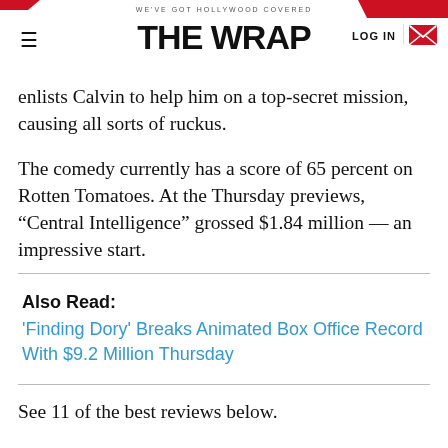WE'VE GOT HOLLYWOOD COVERED — THE WRAP — LOG IN
enlists Calvin to help him on a top-secret mission, causing all sorts of ruckus.
The comedy currently has a score of 65 percent on Rotten Tomatoes. At the Thursday previews, “Central Intelligence” grossed $1.84 million — an impressive start.
Also Read:
'Finding Dory' Breaks Animated Box Office Record With $9.2 Million Thursday
See 11 of the best reviews below.